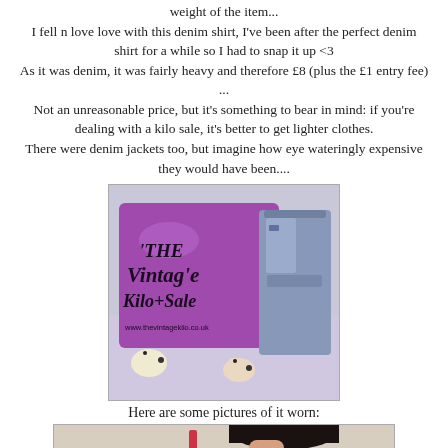weight of the item...
I fell n love love with this denim shirt, I've been after the perfect denim shirt for a while so I had to snap it up <3
As it was denim, it was fairly heavy and therefore £8 (plus the £1 entry fee) ...
Not an unreasonable price, but it's something to bear in mind: if you're dealing with a kilo sale, it's better to get lighter clothes.
There were denim jackets too, but imagine how eye wateringly expensive they would have been....
[Figure (photo): A purple plastic bag from 'The Vintage Kilo+Sale' (www.thevintagekilo.co.uk) next to a folded denim shirt, placed on a patterned fabric surface.]
Here are some pictures of it worn:
[Figure (photo): A person wearing the denim shirt, shown from the shoulders up, partially cropped.]